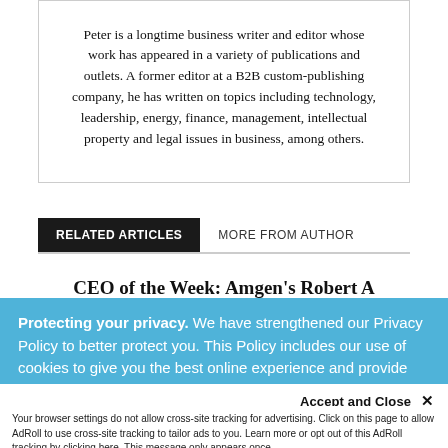Peter is a longtime business writer and editor whose work has appeared in a variety of publications and outlets. A former editor at a B2B custom-publishing company, he has written on topics including technology, leadership, energy, finance, management, intellectual property and legal issues in business, among others.
RELATED ARTICLES   MORE FROM AUTHOR
CEO of the Week: Amgen's Robert A
Protecting your privacy. We have strengthened our Privacy Policy to better protect you. This Policy includes our use of cookies to give you the best online experience and provide functionality essential to our services. By clicking 'Close' or by continuing to use our website, you are consenting to our
Accept and Close ✕
Your browser settings do not allow cross-site tracking for advertising. Click on this page to allow AdRoll to use cross-site tracking to tailor ads to you. Learn more or opt out of this AdRoll tracking by clicking here. This message only appears once.